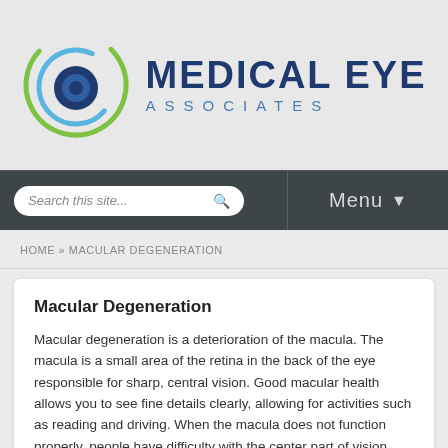[Figure (logo): Medical Eye Associates logo with circular eye graphic in blue and green swirls, and text 'MEDICAL EYE ASSOCIATES' in dark navy blue]
[Figure (screenshot): Navigation bar with search box reading 'Search this site...' and a Menu button with dropdown arrow, dark gray background]
HOME » MACULAR DEGENERATION
Macular Degeneration
Macular degeneration is a deterioration of the macula. The macula is a small area of the retina in the back of the eye responsible for sharp, central vision. Good macular health allows you to see fine details clearly, allowing for activities such as reading and driving. When the macula does not function properly, people have difficulty with the center part of vision causing blurringThe macular vision allows people to drive, read, recognize faces, watch TV, and perform other tasks needing sharp vision straight ahead.